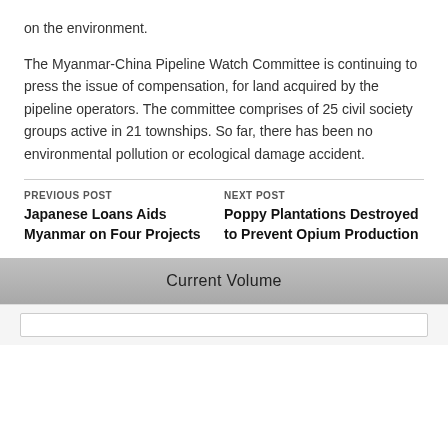on the environment.
The Myanmar-China Pipeline Watch Committee is continuing to press the issue of compensation, for land acquired by the pipeline operators. The committee comprises of 25 civil society groups active in 21 townships. So far, there has been no environmental pollution or ecological damage accident.
PREVIOUS POST
Japanese Loans Aids Myanmar on Four Projects
NEXT POST
Poppy Plantations Destroyed to Prevent Opium Production
Current Volume